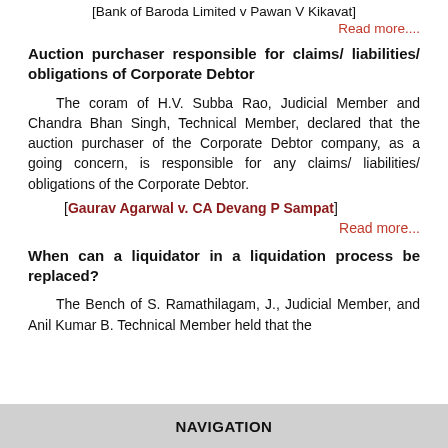[Bank of Baroda Limited v Pawan V Kikavat]
Read more....
Auction purchaser responsible for claims/ liabilities/ obligations of Corporate Debtor
The coram of H.V. Subba Rao, Judicial Member and Chandra Bhan Singh, Technical Member, declared that the auction purchaser of the Corporate Debtor company, as a going concern, is responsible for any claims/ liabilities/ obligations of the Corporate Debtor.
[Gaurav Agarwal v. CA Devang P Sampat]
Read more...
When can a liquidator in a liquidation process be replaced?
The Bench of S. Ramathilagam, J., Judicial Member, and Anil Kumar B. Technical Member held that the
NAVIGATION